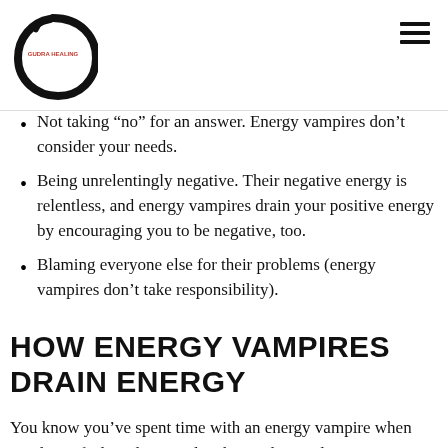GUDRA HEALING logo and navigation
Not taking “no” for an answer. Energy vampires don’t consider your needs.
Being unrelentingly negative. Their negative energy is relentless, and energy vampires drain your positive energy by encouraging you to be negative, too.
Blaming everyone else for their problems (energy vampires don’t take responsibility).
HOW ENERGY VAMPIRES DRAIN ENERGY
You know you’ve spent time with an energy vampire when you leave feeling depressed, exhausted, or sad. Energy vampires drain your positive energy for their own use. Energy vampires